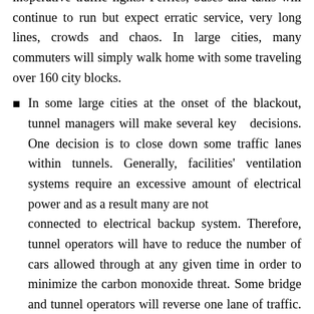inoperative traffic lights. Ferries, buses and taxis will continue to run but expect erratic service, very long lines, crowds and chaos. In large cities, many commuters will simply walk home with some traveling over 160 city blocks.
In some large cities at the onset of the blackout, tunnel managers will make several key decisions. One decision is to close down some traffic lanes within tunnels. Generally, facilities' ventilation systems require an excessive amount of electrical power and as a result many are not connected to electrical backup system. Therefore, tunnel operators will have to reduce the number of cars allowed through at any given time in order to minimize the carbon monoxide threat. Some bridge and tunnel operators will reverse one lane of traffic. This will create three lanes for traffic leaving the downtown area